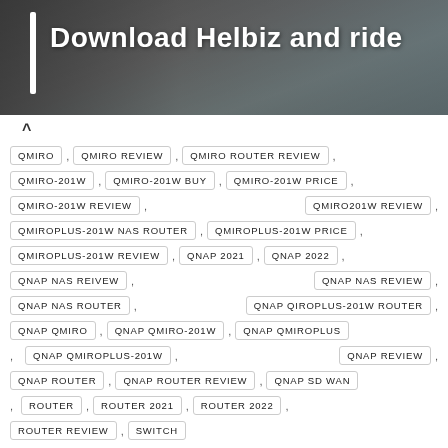[Figure (photo): Banner image of bicycle handlebars with dark background and a blue/teal element. White bold text reads 'Download Helbiz and ride' with a vertical white bar on the left side.]
QMIRO , QMIRO REVIEW , QMIRO ROUTER REVIEW ,
QMIRO-201W , QMIRO-201W BUY , QMIRO-201W PRICE ,
QMIRO-201W REVIEW , QMIRO201W REVIEW ,
QMIROPLUS-201W NAS ROUTER , QMIROPLUS-201W PRICE ,
QMIROPLUS-201W REVIEW , QNAP 2021 , QNAP 2022 ,
QNAP NAS REIVEW , QNAP NAS REVIEW ,
QNAP NAS ROUTER , QNAP QIROPLUS-201W ROUTER ,
QNAP QMIRO , QNAP QMIRO-201W , QNAP QMIROPLUS ,
, QNAP QMIROPLUS-201W , QNAP REVIEW ,
QNAP ROUTER , QNAP ROUTER REVIEW , QNAP SD WAN ,
, ROUTER , ROUTER 2021 , ROUTER 2022 ,
ROUTER REVIEW , SWITCH